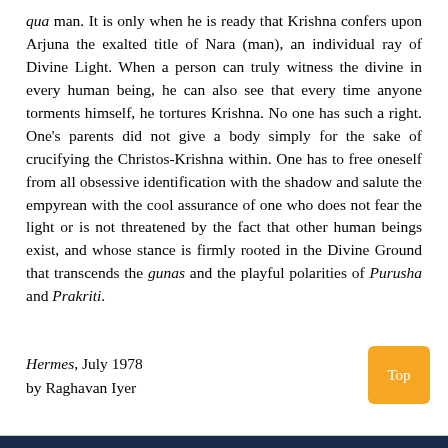qua man. It is only when he is ready that Krishna confers upon Arjuna the exalted title of Nara (man), an individual ray of Divine Light. When a person can truly witness the divine in every human being, he can also see that every time anyone torments himself, he tortures Krishna. No one has such a right. One's parents did not give a body simply for the sake of crucifying the Christos-Krishna within. One has to free oneself from all obsessive identification with the shadow and salute the empyrean with the cool assurance of one who does not fear the light or is not threatened by the fact that other human beings exist, and whose stance is firmly rooted in the Divine Ground that transcends the gunas and the playful polarities of Purusha and Prakriti.
Hermes, July 1978
by Raghavan Iyer